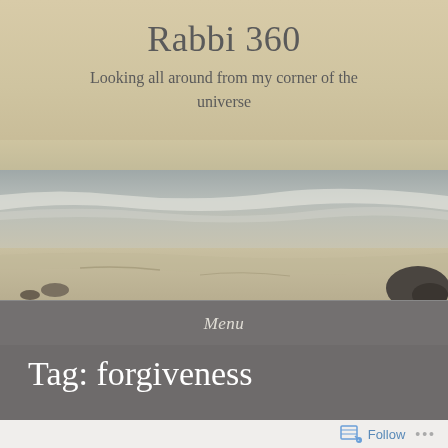Rabbi 360
Looking all around from my corner of the universe
[Figure (photo): Ocean/beach scene with waves, sandy shore and rocks under a pale sky]
Menu
Tag: forgiveness
Follow ...